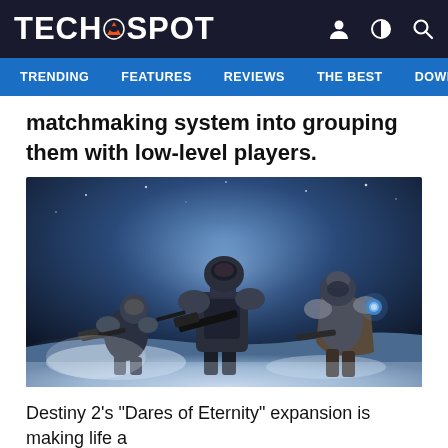TECHSPOT
TRENDING  FEATURES  REVIEWS  THE BEST  DOWNLC
matchmaking system into grouping them with low-level players.
[Figure (photo): Three armored Destiny 2 guardians standing on a snowy/icy landscape with a blue atmospheric background, carrying weapons.]
Destiny 2's "Dares of Eternity" expansion is making life a